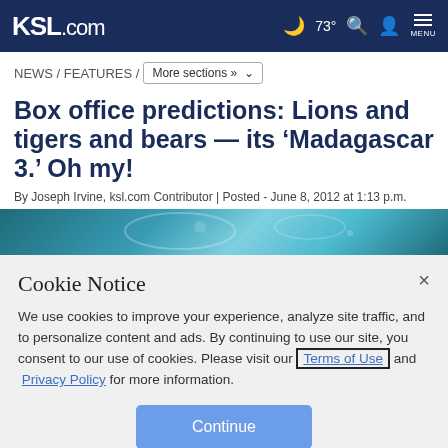KSL.com | 73° | Search | Account | MENU
NEWS / FEATURES / More sections »
Box office predictions: Lions and tigers and bears — its 'Madagascar 3.' Oh my!
By Joseph Irvine, ksl.com Contributor | Posted - June 8, 2012 at 1:13 p.m.
[Figure (photo): Article header image showing space/planetary scene with teal/blue tones]
Cookie Notice
We use cookies to improve your experience, analyze site traffic, and to personalize content and ads. By continuing to use our site, you consent to our use of cookies. Please visit our Terms of Use and Privacy Policy for more information.
Continue